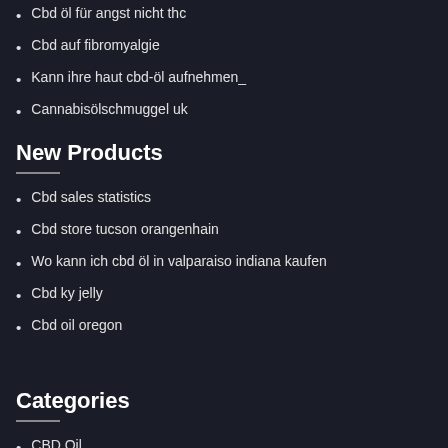Cbd öl für angst nicht thc
Cbd auf fibromyalgie
Kann ihre haut cbd-öl aufnehmen_
Cannabisölschmuggel uk
New Products
Cbd sales statistics
Cbd store tucson orangenhain
Wo kann ich cbd öl in valparaiso indiana kaufen
Cbd ky jelly
Cbd oil oregon
Categories
CBD Oil